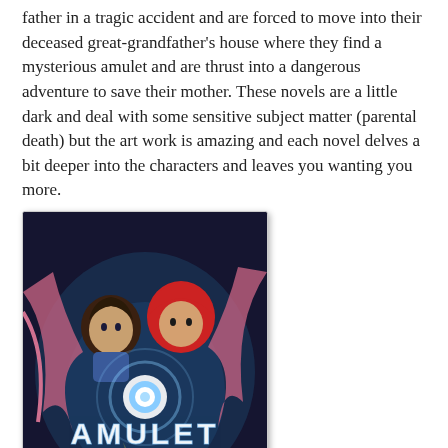father in a tragic accident and are forced to move into their deceased great-grandfather's house where they find a mysterious amulet and are thrust into a dangerous adventure to save their mother. These novels are a little dark and deal with some sensitive subject matter (parental death) but the art work is amazing and each novel delves a bit deeper into the characters and leaves you wanting you more.
[Figure (illustration): Book cover of 'Amulet: The Stonekeeper' showing two children and a glowing amulet on a dark fantasy background]
Giants Beware! (The Chronicles of Claudette Series)  by Jorge Aguirre - More than anything Claudette wants to be a giant slayer so she embarks on a quest to find a giant. Claudette is feisty, brave and not your "typical" girl which my daughter loved. The characters are relatable, the plot is engaging and the artwork enthralling. This is one that will be